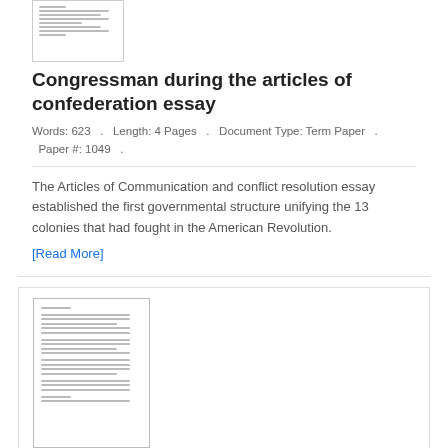[Figure (illustration): Small thumbnail of a document page with lines of text]
Congressman during the articles of confederation essay
Words: 623   .   Length: 4 Pages   .   Document Type: Term Paper   .   Paper #: 1049   .
The Articles of Communication and conflict resolution essay established the first governmental structure unifying the 13 colonies that had fought in the American Revolution.
[Read More]
[Figure (illustration): Thumbnail of a multi-page document with dense lines of text]
Wsu application essays sample
Words: 557   .   Length: 4 Pages   .   Document Type: Assignment